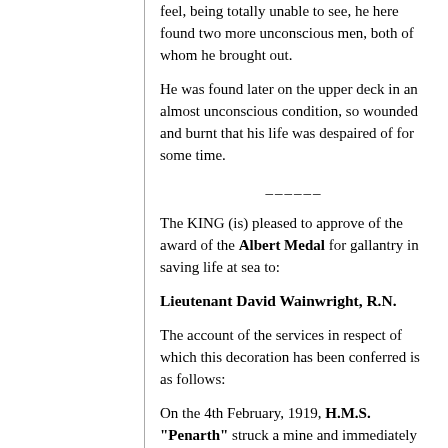feel, being totally unable to see, he here found two more unconscious men, both of whom he brought out.
He was found later on the upper deck in an almost unconscious condition, so wounded and burnt that his life was despaired of for some time.
The KING (is) pleased to approve of the award of the Albert Medal for gallantry in saving life at sea to:
Lieutenant David Wainwright, R.N.
The account of the services in respect of which this decoration has been conferred is as follows:
On the 4th February, 1919, H.M.S. "Penarth" struck a mine and immediately began to sink. Lieutenant David Wainwright, taking command of the situation, at once superintended the manning and lowering of the starboard gig, and later the launching of the Carley floats. Hearing there was a stoker injured in one of the stokeholds, he called for volunteers to show him the way, and at once made his way forward